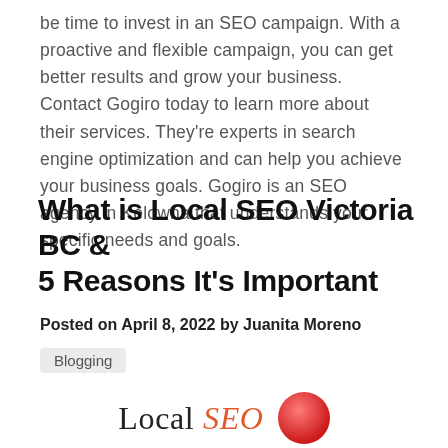be time to invest in an SEO campaign. With a proactive and flexible campaign, you can get better results and grow your business. Contact Gogiro today to learn more about their services. They're experts in search engine optimization and can help you achieve your business goals. Gogiro is an SEO agency in Kelowna that understands your specific needs and goals.
What is Local SEO Victoria BC & 5 Reasons It's Important
Posted on April 8, 2022 by Juanita Moreno
Blogging
[Figure (illustration): Partial view of a 'Local SEO' text logo with red circle/emoji graphic to the right, cut off at bottom of page.]